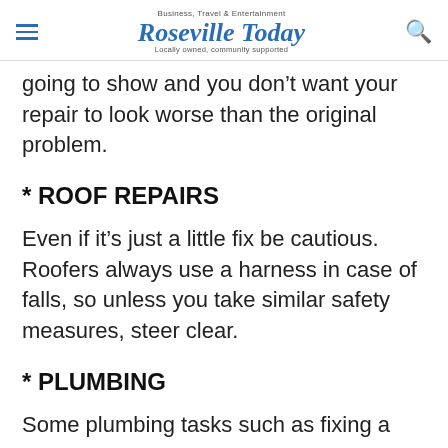Business, Travel & Entertainment Roseville Today Locally owned, community supported
going to show and you don't want your repair to look worse than the original problem.
* ROOF REPAIRS
Even if it's just a little fix be cautious. Roofers always use a harness in case of falls, so unless you take similar safety measures, steer clear.
* PLUMBING
Some plumbing tasks such as fixing a